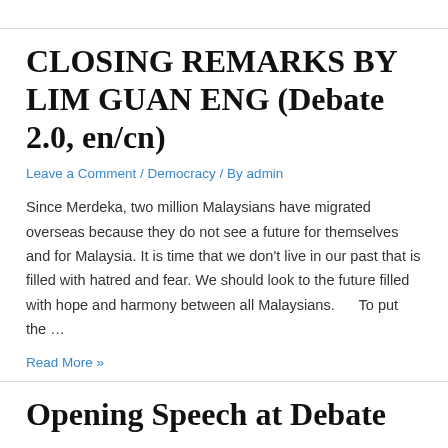CLOSING REMARKS BY LIM GUAN ENG (Debate 2.0, en/cn)
Leave a Comment / Democracy / By admin
Since Merdeka, two million Malaysians have migrated overseas because they do not see a future for themselves and for Malaysia. It is time that we don't live in our past that is filled with hatred and fear. We should look to the future filled with hope and harmony between all Malaysians.      To put the …
Read More »
Opening Speech at Debate